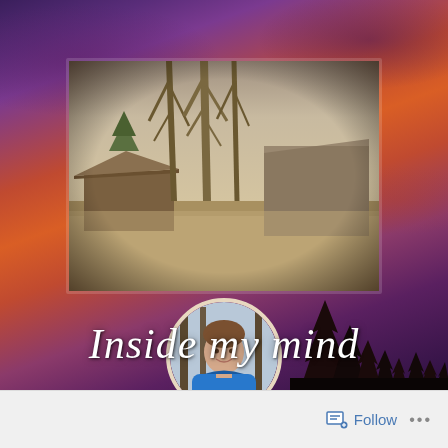[Figure (photo): Background image of a dramatic sunset sky with deep purple and orange-red clouds]
[Figure (photo): Sepia-toned photograph of old rural barn structures with tall bare trees, set in a dry grassy field]
[Figure (photo): Circular profile photo of a woman in a blue top smiling, with a fence visible behind her]
Inside my mind
Follow ...